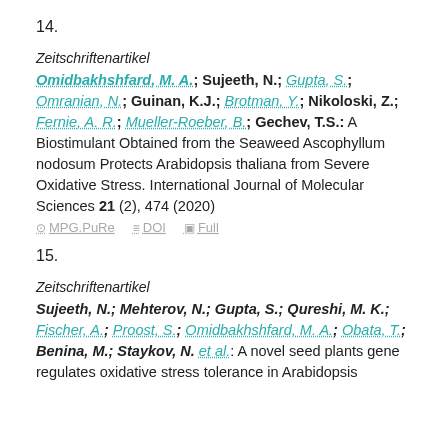14.
Zeitschriftenartikel
Omidbakhshfard, M. A.; Sujeeth, N.; Gupta, S.; Omranian, N.; Guinan, K.J.; Brotman, Y.; Nikoloski, Z.; Fernie, A. R.; Mueller-Roeber, B.; Gechev, T.S.: A Biostimulant Obtained from the Seaweed Ascophyllum nodosum Protects Arabidopsis thaliana from Severe Oxidative Stress. International Journal of Molecular Sciences 21 (2), 474 (2020)
MPG.PuRe   DOI   Full
15.
Zeitschriftenartikel
Sujeeth, N.; Mehterov, N.; Gupta, S.; Qureshi, M. K.; Fischer, A.; Proost, S.; Omidbakhshfard, M. A.; Obata, T.; Benina, M.; Staykov, N. et al.: A novel seed plants gene regulates oxidative stress tolerance in Arabidopsis